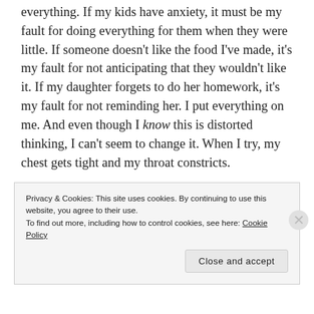everything. If my kids have anxiety, it must be my fault for doing everything for them when they were little. If someone doesn't like the food I've made, it's my fault for not anticipating that they wouldn't like it. If my daughter forgets to do her homework, it's my fault for not reminding her. I put everything on me. And even though I know this is distorted thinking, I can't seem to change it. When I try, my chest gets tight and my throat constricts.
I know that EMDR is meant to help reprocess emotional trauma. I don't think I'd ever considered that I had any, to be honest. I'd always felt like I handled things well and that my
Privacy & Cookies: This site uses cookies. By continuing to use this website, you agree to their use.
To find out more, including how to control cookies, see here: Cookie Policy